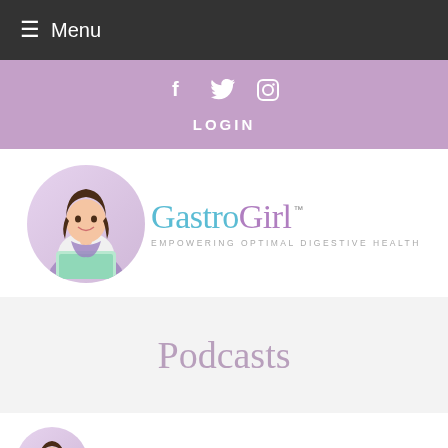≡ Menu
f  🐦  ⊙
LOGIN
[Figure (logo): GastroGirl logo with illustrated woman sitting at laptop inside a circle, with the text 'GastroGirl TM' in teal and purple script, and 'EMPOWERING OPTIMAL DIGESTIVE HEALTH' in gray below]
Podcasts
[Figure (logo): Smaller GastroGirl logo at bottom of page, partial view showing illustrated woman in circle and 'GastroGirl TM' text beginning]